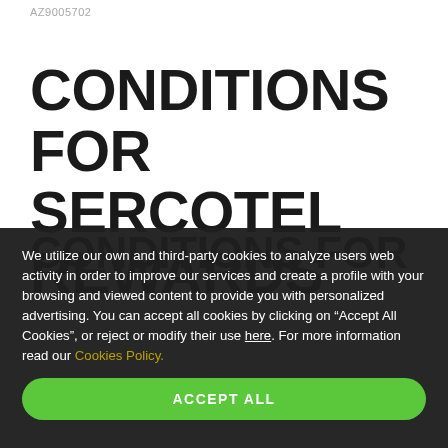AZ9005702
CONDITIONS FOR SERCOTEL REWARDS
CONDITIONS FOR
We utilize our own and third-party cookies to analyze users web activity in order to improve our services and create a profile with your browsing and viewed content to provide you with personalized advertising. You can accept all cookies by clicking on “Accept All Cookies”, or reject or modify their use here. For more information read our Cookies Policy.
ACCEPT ALL